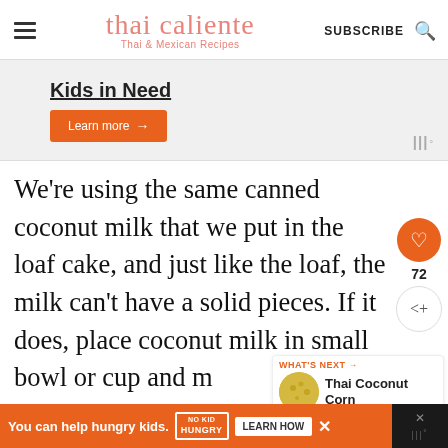thai caliente — Thai & Mexican Recipes | SUBSCRIBE
[Figure (screenshot): Advertisement banner showing 'Kids in Need' text and orange 'Learn more →' button on light grey background]
We're using the same canned coconut milk that we put in the loaf cake, and just like the loaf, the milk can't have a solid pieces. If it does, place coconut milk in small bowl or cup and m... for 30 seconds.
[Figure (infographic): Sidebar with heart icon (72 likes) and share icon, plus 'WHAT'S NEXT → Thai Coconut Corn' widget with thumbnail]
[Figure (infographic): Bottom orange ad bar: 'You can help hungry kids.' No Kid Hungry logo and LEARN HOW button]